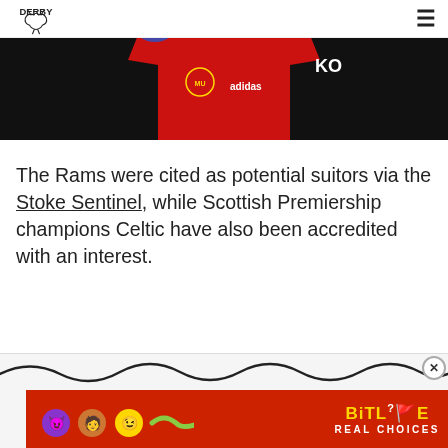Derby County logo and hamburger menu
[Figure (photo): A person wearing a red Manchester United Adidas jersey with KO sponsor visible, against a dark background.]
The Rams were cited as potential suitors via the Stoke Sentinel, while Scottish Premiership champions Celtic have also been accredited with an interest.
[Figure (infographic): Advertisement banner for BitLife game - REAL CHOICES with emoji characters on red background. Close button (X) visible in top right corner.]